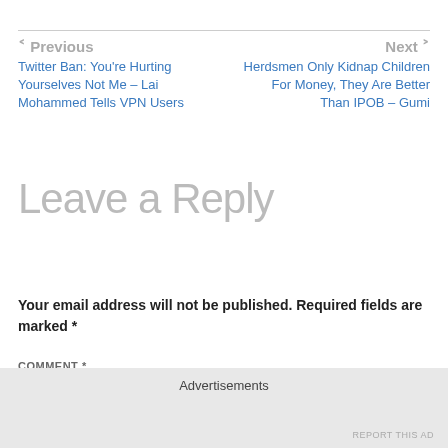← Previous | Next →
Twitter Ban: You're Hurting Yourselves Not Me – Lai Mohammed Tells VPN Users
Herdsmen Only Kidnap Children For Money, They Are Better Than IPOB – Gumi
Leave a Reply
Your email address will not be published. Required fields are marked *
COMMENT *
Advertisements
REPORT THIS AD